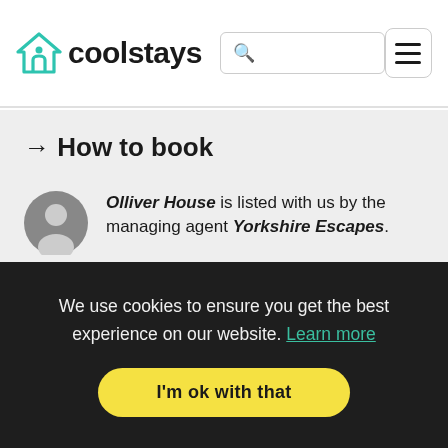coolstays
→ How to book
Olliver House is listed with us by the managing agent Yorkshire Escapes.
We use cookies to ensure you get the best experience on our website. Learn more
I'm ok with that